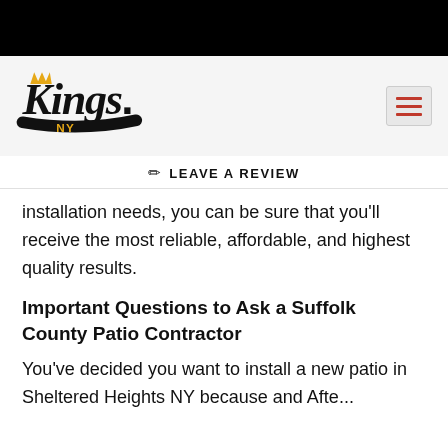[Figure (logo): Kings NY logo in script font with orange crown and gold/yellow NY text on dark swoosh]
✏ LEAVE A REVIEW
installation needs, you can be sure that you'll receive the most reliable, affordable, and highest quality results.
Important Questions to Ask a Suffolk County Patio Contractor
You've decided you want to install a new patio in Sheltered Heights NY because and Afte...